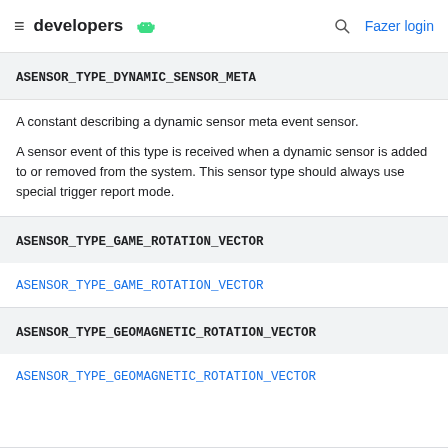developers [android icon] Fazer login
ASENSOR_TYPE_DYNAMIC_SENSOR_META
A constant describing a dynamic sensor meta event sensor.
A sensor event of this type is received when a dynamic sensor is added to or removed from the system. This sensor type should always use special trigger report mode.
ASENSOR_TYPE_GAME_ROTATION_VECTOR
ASENSOR_TYPE_GAME_ROTATION_VECTOR
ASENSOR_TYPE_GEOMAGNETIC_ROTATION_VECTOR
ASENSOR_TYPE_GEOMAGNETIC_ROTATION_VECTOR